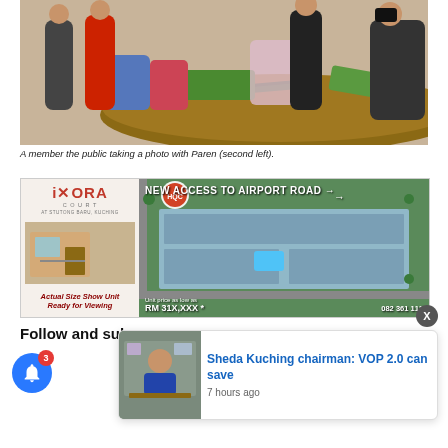[Figure (photo): People standing around a round table with vegetables and bags on it, in what appears to be a market or store setting. Someone is taking a photo.]
A member the public taking a photo with Paren (second left).
[Figure (photo): Advertisement for iXORA Court at Stutong Baru, Kuching with actual size show unit and HQC building development showing new access to airport road, unit price from RM 31X,XXX]
[Figure (photo): Sheda Kuching chairman notification popup thumbnail]
Follow and sub
Sheda Kuching chairman: VOP 2.0 can save
7 hours ago